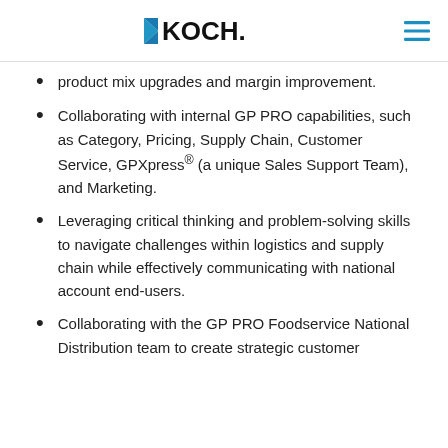KOCH.
product mix upgrades and margin improvement.
Collaborating with internal GP PRO capabilities, such as Category, Pricing, Supply Chain, Customer Service, GPXpress® (a unique Sales Support Team), and Marketing.
Leveraging critical thinking and problem-solving skills to navigate challenges within logistics and supply chain while effectively communicating with national account end-users.
Collaborating with the GP PRO Foodservice National Distribution team to create strategic customer